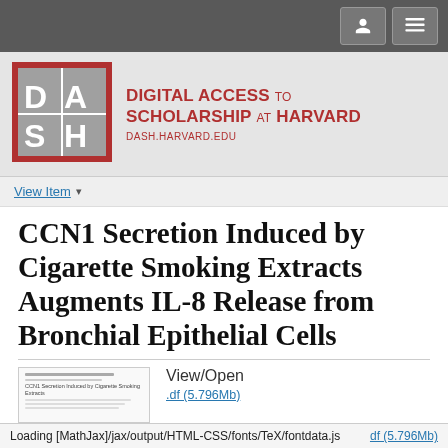[Figure (logo): DASH - Digital Access to Scholarship at Harvard logo with red border and gray background]
DIGITAL ACCESS TO SCHOLARSHIP AT HARVARD
DASH.HARVARD.EDU
View Item
CCN1 Secretion Induced by Cigarette Smoking Extracts Augments IL-8 Release from Bronchial Epithelial Cells
View/Open
.df (5.796Mb)
Loading [MathJax]/jax/output/HTML-CSS/fonts/TeX/fontdata.js